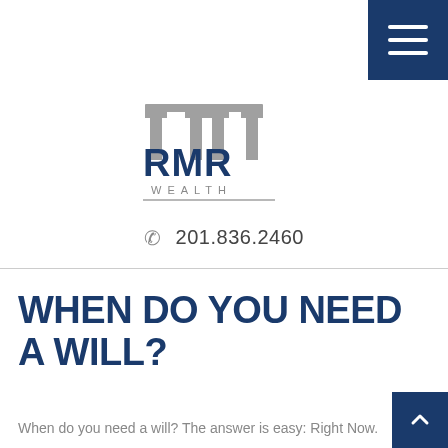[Figure (logo): RMR Wealth logo with arch/pillar graphic above 'RMR' text and 'WEALTH' below]
201.836.2460
WHEN DO YOU NEED A WILL?
When do you need a will? The answer is easy: Right Now.